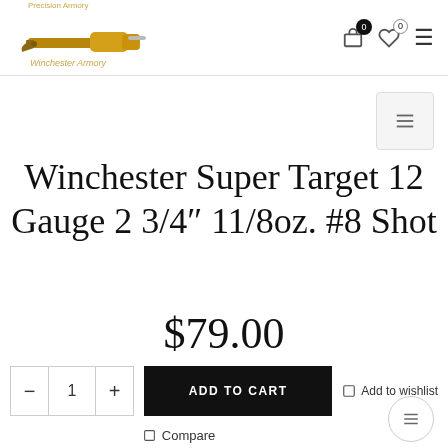Winchester Armory — site header with logo, cart icons, and menu
Winchester Super Target 12 Gauge 2 3/4″ 11/8oz. #8 Shot
$79.00
ADD TO CART   Add to wishlist
Compare